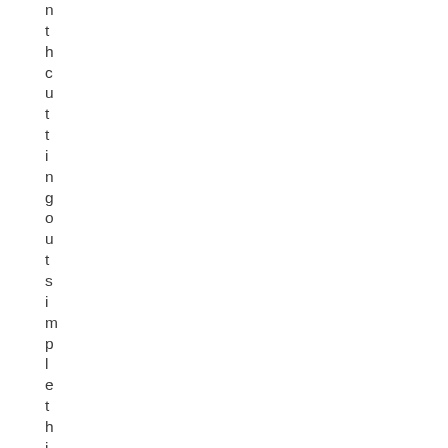nthcuttingoutsimplethings...Whi